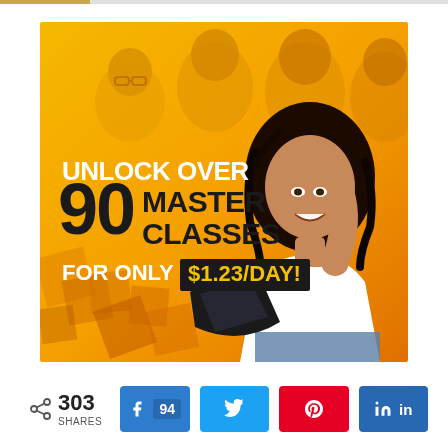[Figure (illustration): Advertisement banner with golden/yellow background showing a woman smiling and holding a tablet, with text: UNLOCK OVER 90 MASTER CLASSES FOR ONLY $1.23/DAY!]
303 SHARES
Facebook 94
Twitter
Pinterest
LinkedIn in